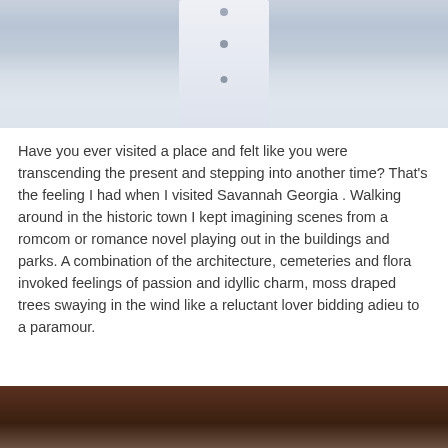[Figure (photo): Cropped photo showing a person in white pants/jumpsuit at a beach or waterfront, with gray water and sandy background visible]
Have you ever visited a place and felt like you were transcending the present and stepping into another time? That's the feeling I had when I visited Savannah Georgia . Walking around in the historic town I kept imagining scenes from a romcom or romance novel playing out in the buildings and parks. A combination of the architecture, cemeteries and flora invoked feelings of passion and idyllic charm, moss draped trees swaying in the wind like a reluctant lover bidding adieu to a paramour.
[Figure (photo): Partially visible photo at the bottom of the page showing dark blurred foliage or natural scene]